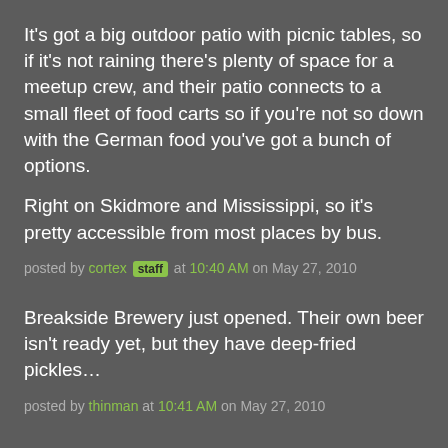It's got a big outdoor patio with picnic tables, so if it's not raining there's plenty of space for a meetup crew, and their patio connects to a small fleet of food carts so if you're not so down with the German food you've got a bunch of options.
Right on Skidmore and Mississippi, so it's pretty accessible from most places by bus.
posted by cortex [staff] at 10:40 AM on May 27, 2010
Breakside Brewery just opened. Their own beer isn't ready yet, but they have deep-fried pickles…
posted by thinman at 10:41 AM on May 27, 2010
Yay! June 5th is a good date for me, and I'll go anywhere.
posted by ... at 11:00 AM on May 27, 2010